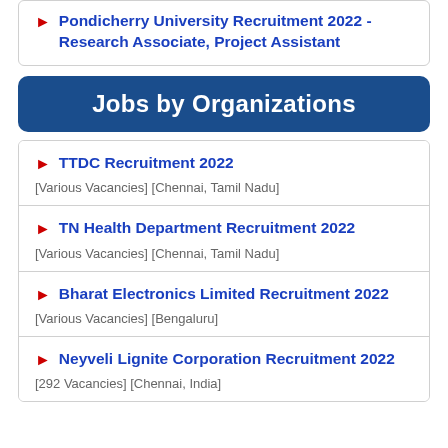Pondicherry University Recruitment 2022 - Research Associate, Project Assistant
Jobs by Organizations
TTDC Recruitment 2022
[Various Vacancies] [Chennai, Tamil Nadu]
TN Health Department Recruitment 2022
[Various Vacancies] [Chennai, Tamil Nadu]
Bharat Electronics Limited Recruitment 2022
[Various Vacancies] [Bengaluru]
Neyveli Lignite Corporation Recruitment 2022
[292 Vacancies] [Chennai, India]